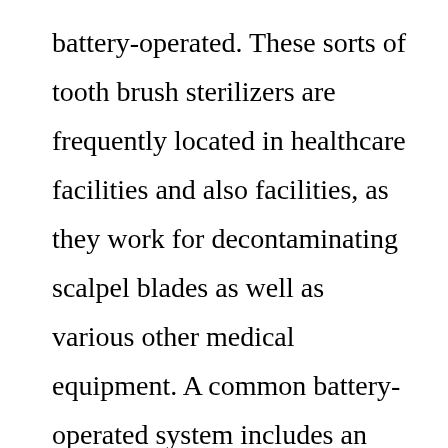battery-operated. These sorts of tooth brush sterilizers are frequently located in healthcare facilities and also facilities, as they work for decontaminating scalpel blades as well as various other medical equipment. A common battery-operated system includes an electrical motor that pumps a service of chlorine, which eliminates germs and bacteria, as well as an air compressor that distributes the remedy with the water in television which contains the chlorine. The flowing air makes certain that it is not subjected to dampness, and that